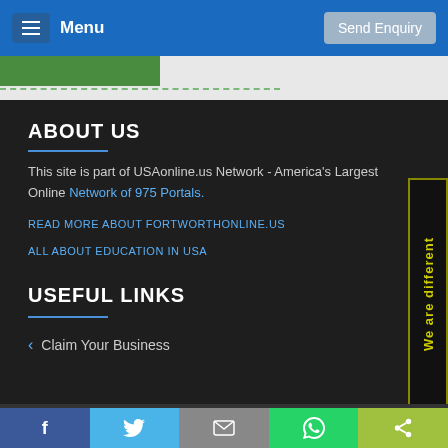Menu   Send Enquiry
ABOUT US
This site is part of USAonline.us Network - America's Largest Online Network of 975 Portals.
READ MORE ABOUT FORTWORTHONLINE.US
ALL ABOUT EDUCATION IN USA
USEFUL LINKS
< Claim Your Business
[Figure (other): Vertical yellow-on-black banner reading 'We are different']
f   Twitter   Email   WhatsApp   Share